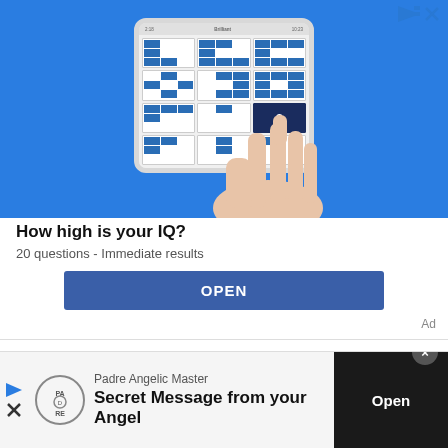[Figure (screenshot): Advertisement banner showing a hand holding a tablet with an IQ puzzle matrix test app on a blue background. The screen shows a 3x4 grid of pattern puzzles with a question mark tile.]
How high is your IQ?
20 questions - Immediate results
OPEN
Ad
Starseed Therapy
[Figure (screenshot): Bottom banner advertisement for Padre Angelic Master with PADRE logo, text 'Padre Angelic Master' and 'Secret Message from your Angel' with an Open button on dark background.]